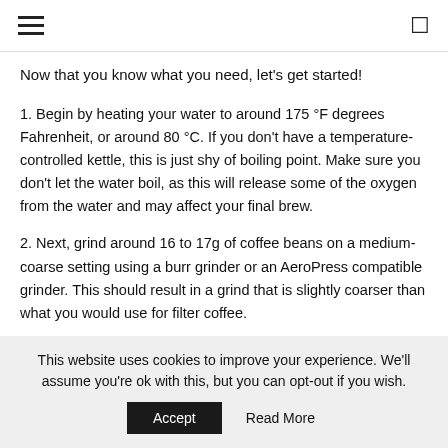≡  🔍
Now that you know what you need, let's get started!
1. Begin by heating your water to around 175 °F degrees Fahrenheit, or around 80 °C. If you don't have a temperature-controlled kettle, this is just shy of boiling point. Make sure you don't let the water boil, as this will release some of the oxygen from the water and may affect your final brew.
2. Next, grind around 16 to 17g of coffee beans on a medium-coarse setting using a burr grinder or an AeroPress compatible grinder. This should result in a grind that is slightly coarser than what you would use for filter coffee.
This website uses cookies to improve your experience. We'll assume you're ok with this, but you can opt-out if you wish.
Accept   Read More